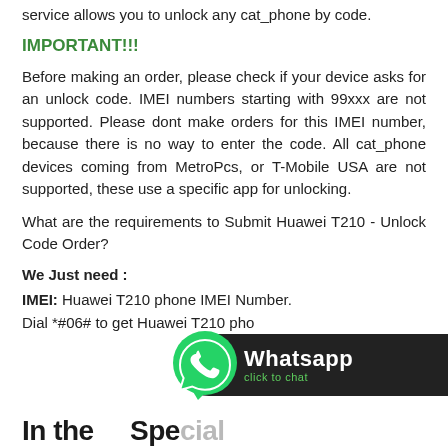service allows you to unlock any cat_phone by code.
IMPORTANT!!!
Before making an order, please check if your device asks for an unlock code. IMEI numbers starting with 99xxx are not supported. Please dont make orders for this IMEI number, because there is no way to enter the code. All cat_phone devices coming from MetroPcs, or T-Mobile USA are not supported, these use a specific app for unlocking.
What are the requirements to Submit Huawei T210 - Unlock Code Order?
We Just need :
IMEI: Huawei T210 phone IMEI Number.
Dial *#06# to get Huawei T210 pho...
[Figure (logo): WhatsApp click to chat button with green WhatsApp icon on black rounded rectangle background]
...In the ...or Special...